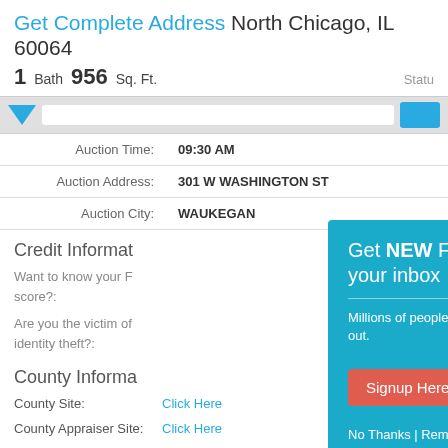Get Complete Address North Chicago, IL 60064
1 Bath  956 Sq. Ft.  Statu
| Label | Value |
| --- | --- |
| Auction Time: | 09:30 AM |
| Auction Address: | 301 W WASHINGTON ST |
| Auction City: | WAUKEGAN |
Credit Informat
Want to know your F score?:
Are you the victim of identity theft?:
[Figure (infographic): Popup modal overlay with teal background promoting foreclosure listing email signup. Contains title 'Get NEW Foreclosure Listings sent to your inbox', description text, red Signup Here button, envelope icon, and No Thanks | Remind Me Later links.]
County Informa
County Site:
Click Here
County Appraiser Site:
Click Here